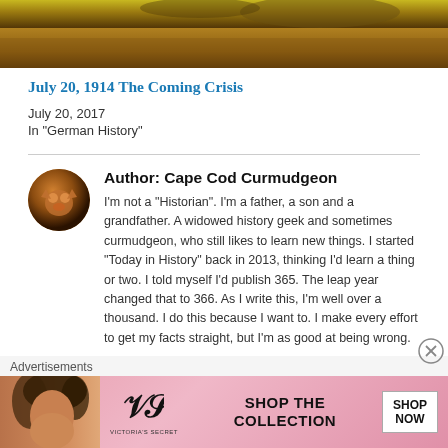[Figure (photo): Wheat field landscape photo with golden crops and dramatic sky]
July 20, 1914 The Coming Crisis
July 20, 2017
In "German History"
Author: Cape Cod Curmudgeon
I'm not a "Historian". I'm a father, a son and a grandfather. A widowed history geek and sometimes curmudgeon, who still likes to learn new things. I started "Today in History" back in 2013, thinking I'd learn a thing or two. I told myself I'd publish 365. The leap year changed that to 366. As I write this, I'm well over a thousand. I do this because I want to. I make every effort to get my facts straight, but I'm as good at being wrong.
Advertisements
[Figure (photo): Victoria's Secret advertisement banner: Shop the Collection - Shop Now]